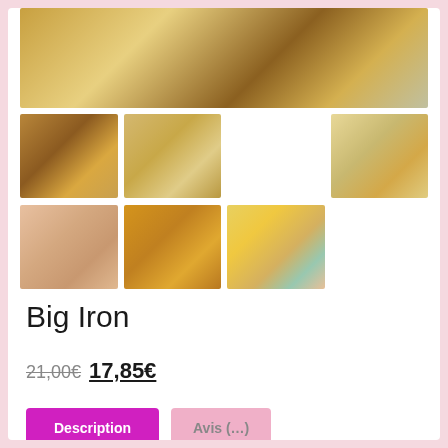[Figure (photo): Main product photo: skeins of hand-dyed yarn in golden yellow, brown, and cream tones arranged on a wooden surface]
[Figure (photo): Thumbnail 1: small skeins of yarn in brown and golden tones]
[Figure (photo): Thumbnail 2: twisted hank of yarn in cream and golden tones]
[Figure (photo): Thumbnail 3: knitted swatch texture in yellow and cream (partially visible, far right)]
[Figure (photo): Thumbnail 4: fluffy yarn/fiber in peach and tan tones]
[Figure (photo): Thumbnail 5: mini skeins in orange and golden tones arranged in a row]
[Figure (photo): Thumbnail 6: mini skeins in yellow, pink, and teal gradient arranged in a fan]
Big Iron
21,00€ 17,85€
Description  Avis (…)